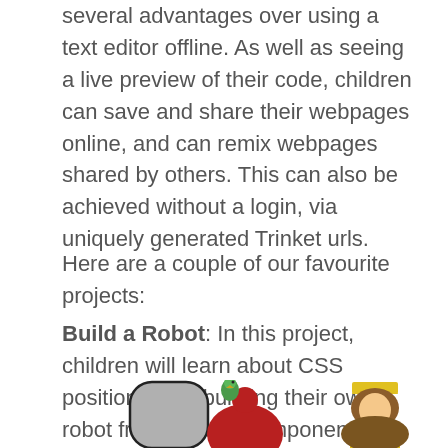several advantages over using a text editor offline. As well as seeing a live preview of their code, children can save and share their webpages online, and can remix webpages shared by others. This can also be achieved without a login, via uniquely generated Trinket urls.
Here are a couple of our favourite projects:
Build a Robot: In this project, children will learn about CSS positioning by building their own robot from various components.
[Figure (illustration): Three cartoon robot/character illustrations: a grey rounded robot head (left), a red-cloaked figure with a green parrot on shoulder (center), and a crowned figure with brown hair and yellow/pink/yellow chest decoration (right).]